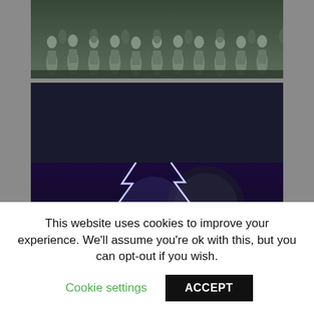[Figure (photo): Top strip showing stormtroopers/clone soldiers marching in rows, dark toned scene]
[Figure (photo): Meme image: top half shows Emperor Palpatine shooting lightning with caption 'Unlimited power!'; bottom half shows an older man (resembling Doc Brown) with caption text 'WITH UNLIMITED POWER COMES UNLIMITED RESPONSIBILITY']
This website uses cookies to improve your experience. We'll assume you're ok with this, but you can opt-out if you wish.
Cookie settings
ACCEPT